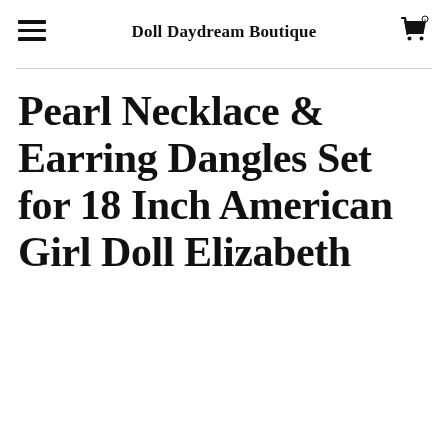Doll Daydream Boutique
Pearl Necklace & Earring Dangles Set for 18 Inch American Girl Doll Elizabeth